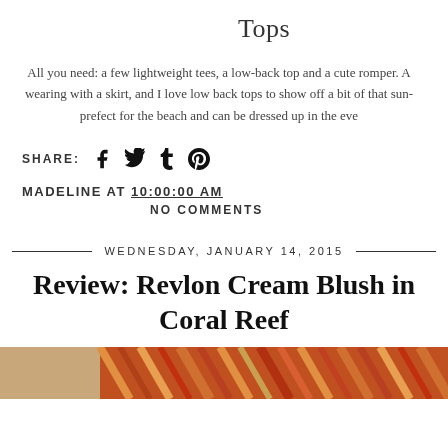Tops
All you need: a few lightweight tees, a low-back top and a cute romper. A wearing with a skirt, and I love low back tops to show off a bit of that sun- prefect for the beach and can be dressed up in the eve
SHARE: [social icons: facebook, twitter, tumblr, pinterest]
MADELINE AT 10:00:00 AM
NO COMMENTS
WEDNESDAY, JANUARY 14, 2015
Review: Revlon Cream Blush in Coral Reef
[Figure (photo): Partial image at bottom of page showing colorful patterned fabric or product with coral/orange tones]